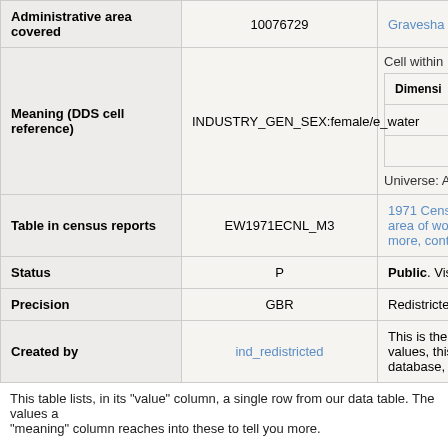| Field | Value | Description |
| --- | --- | --- |
| Administrative area covered | 10076729 | Gravesham |
| Meaning (DDS cell reference) | INDUSTRY_GEN_SEX:female/e_water | Cell within... Dimension 1 2 Universe: A... |
| Table in census reports | EW1971ECNL_M3 | 1971 Cens... area of wo... more, cont... |
| Status | P | Public. Vis... |
| Precision | GBR | Redistricted... |
| Created by | ind_redistricted | This is the... values, this... database,... |
This table lists, in its "value" column, a single row from our data table. The values a... "meaning" column reaches into these to tell you more.